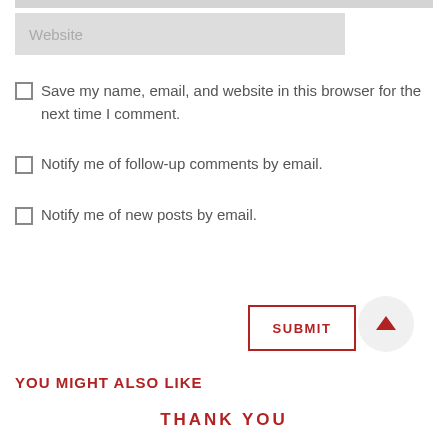Website
Save my name, email, and website in this browser for the next time I comment.
Notify me of follow-up comments by email.
Notify me of new posts by email.
SUBMIT
YOU MIGHT ALSO LIKE
THANK YOU